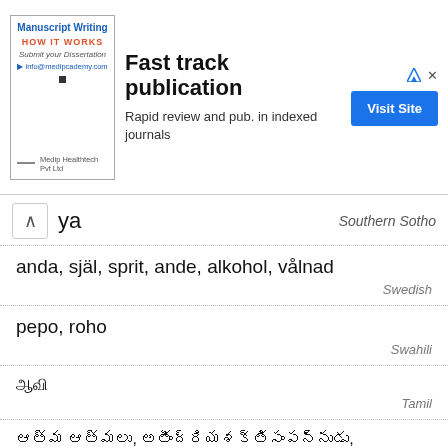[Figure (other): Advertisement banner for Medip Healthtech Pvt Ltd promoting fast track publication and manuscript writing service with a Visit Site button.]
ya — Southern Sotho
anda, själ, sprit, ande, alkohol, vålnad — Swedish
pepo, roho — Swahili
ஆவி — Tamil
ఆత్మ ఆత్మలు, అతీంద్రియశక్తిసంపన్నుడు, మద్యపానీయం, ఆత్మీయత, ఆవి — Telugu
วิญญาณ — Thai
espiritu, multo, kaluluwa — Tagalog